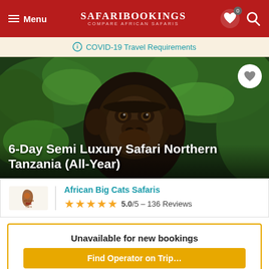Menu | SafariBookings Compare African Safaris
COVID-19 Travel Requirements
[Figure (photo): Close-up photo of a chimpanzee face surrounded by green foliage]
6-Day Semi Luxury Safari Northern Tanzania (All-Year)
African Big Cats Safaris
5.0/5 – 136 Reviews
Unavailable for new bookings
Find Operator on Trip...